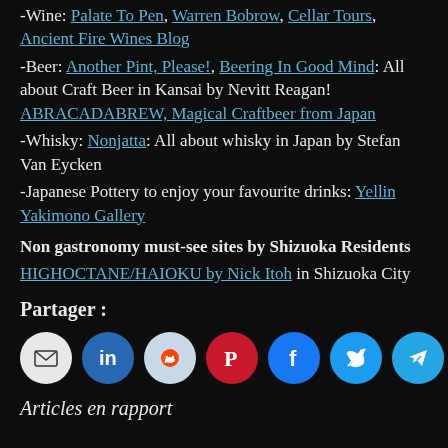-Wine: Palate To Pen, Warren Bobrow, Cellar Tours, Ancient Fire Wines Blog
-Beer: Another Pint, Please!, Beering In Good Mind: All about Craft Beer in Kansai by Nevitt Reagan! ABRACADABREW, Magical Craftbeer from Japan
-Whisky: Nonjatta: All about whisky in Japan by Stefan Van Eycken
-Japanese Pottery to enjoy your favourite drinks: Yellin Yakimono Gallery
Non gastronomy must-see sites by Shizuoka Residents
HIGHOCTANE/HAIOKU by Nick Itoh in Shizuoka City
Partager :
[Figure (infographic): Row of 8 social share buttons: email (grey), LinkedIn (blue), Reddit (light blue), Pinterest (red), Facebook (blue), Twitter (cyan), Telegram (blue), WhatsApp (green)]
Articles en rapport